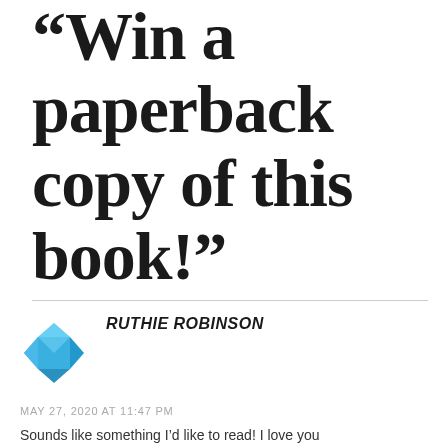“Win a paperback copy of this book!”
RUTHIE ROBINSON
MAY 27, 2020 AT 11:47 PM
Sounds like something I’d like to read! I love you